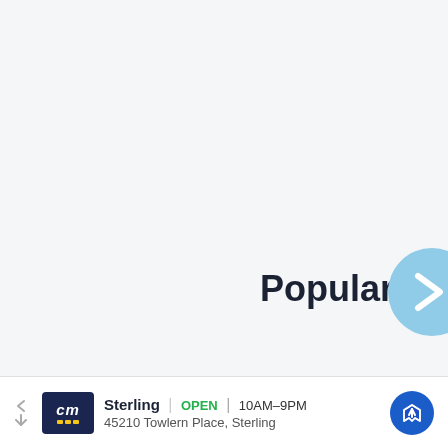Popular Pet Guide
Related articles
[Figure (other): Advertisement banner: CM logo (CertifiedMaster), Sterling store, OPEN 10AM-9PM, 45210 Towlern Place, Sterling, with map navigation icon]